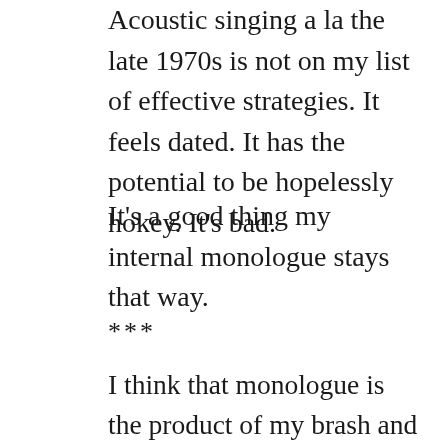Acoustic singing a la the late 1970s is not on my list of effective strategies. It feels dated. It has the potential to be hopelessly hokey. It's bad.
It's a good thing my internal monologue stays that way.
***
I think that monologue is the product of my brash and often critical New York-upbringing, in which I grew up with a default mode: critique. I wouldn't do that. I wouldn't say it that way. I would have done that differently. It's hard to recognize this in myself, and ultimately, hard to turn it off, to switch from biting critic to carefree participant, or, even harder, to supportive partner.
There's something about my internal monologue